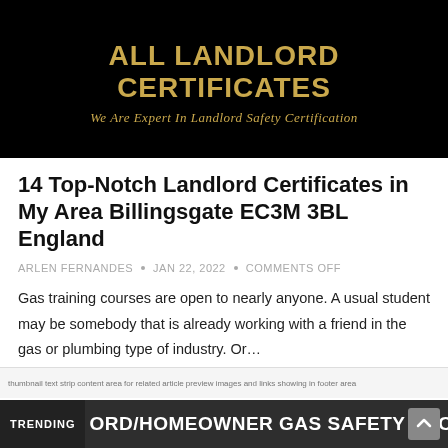[Figure (logo): All Landlord Certificates website header banner on black background with gold text site title and italic subtitle]
14 Top-Notch Landlord Certificates in My Area Billingsgate EC3M 3BL England
ARLEN FERNANDES • JAN 22, 2022 • COMMENTS OFF
Gas training courses are open to nearly anyone. A usual student may be somebody that is already working with a friend in the gas or plumbing type of industry. Or…
CONTINUE READING »
TRENDING  ORD/HOMEOWNER GAS SAFETY RECOR…